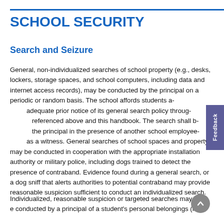SCHOOL SECURITY
Search and Seizure
General, non-individualized searches of school property (e.g., desks, lockers, storage spaces, and school computers, including data and internet access records), may be conducted by the principal on a periodic or random basis. The school affords students adequate prior notice of its general search policy through the policies referenced above and this handbook. The search shall be conducted by the principal in the presence of another school employee who serves as a witness. General searches of school spaces and property may be conducted in cooperation with the appropriate installation authority or military police, including dogs trained to detect the presence of contraband. Evidence found during a general search, or a dog sniff that alerts authorities to potential contraband may provide reasonable suspicion sufficient to conduct an individualized search.
Individualized, reasonable suspicion or targeted searches may be conducted by a principal of a student's personal belongings (inc...